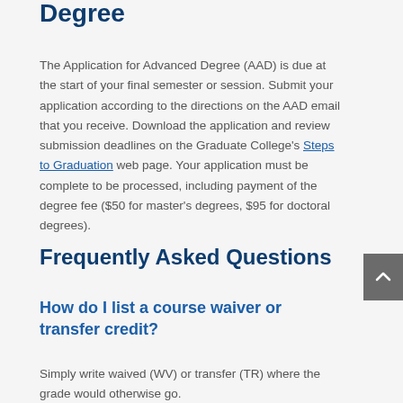Degree
The Application for Advanced Degree (AAD) is due at the start of your final semester or session. Submit your application according to the directions on the AAD email that you receive. Download the application and review submission deadlines on the Graduate College's Steps to Graduation web page. Your application must be complete to be processed, including payment of the degree fee ($50 for master's degrees, $95 for doctoral degrees).
Frequently Asked Questions
How do I list a course waiver or transfer credit?
Simply write waived (WV) or transfer (TR) where the grade would otherwise go.